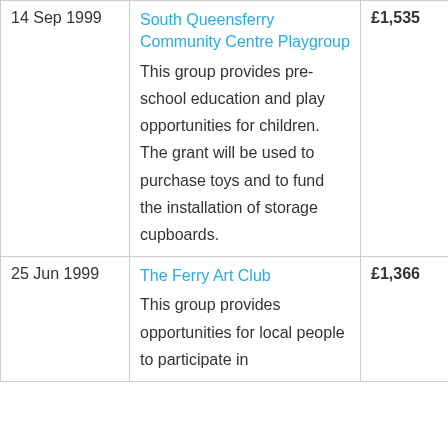| Date | Organisation | Amount | Fund |
| --- | --- | --- | --- |
| 14 Sep 1999 | South Queensferry Community Centre Playgroup
This group provides pre-school education and play opportunities for children. The grant will be used to purchase toys and to fund the installation of storage cupboards. | £1,535 | Community |
| 25 Jun 1999 | The Ferry Art Club
This group provides opportunities for local people to participate in... | £1,366 | Scottish Art |